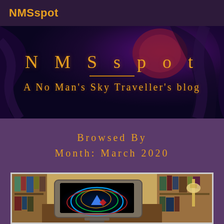NMSspot
[Figure (illustration): Dark space/alien landscape banner with NMSspot title and subtitle 'A No Man's Sky Traveller's blog' in gold text on dark purple background]
Browsed By Month: March 2020
[Figure (photo): Photograph of a retro CRT television set displaying colorful arcs and geometric shapes on screen, surrounded by bookshelves and a desk lamp]